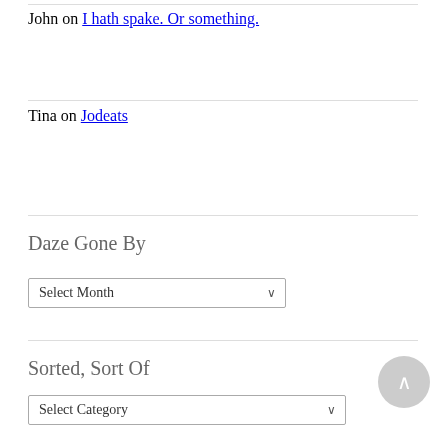John on I hath spake. Or something.
Tina on Jodeats
Daze Gone By
Select Month
Sorted, Sort Of
Select Category
Archi...